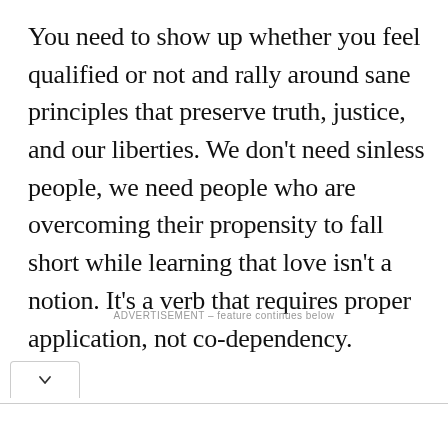You need to show up whether you feel qualified or not and rally around sane principles that preserve truth, justice, and our liberties. We don't need sinless people, we need people who are overcoming their propensity to fall short while learning that love isn't a notion. It's a verb that requires proper application, not co-dependency.
ADVERTISEMENT – feature continues below